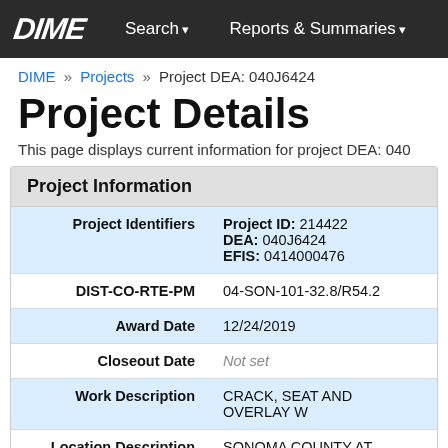DIME  Search ▾  Reports & Summaries ▾
DIME » Projects » Project DEA: 040J6424
Project Details
This page displays current information for project DEA: 040...
| Field | Value |
| --- | --- |
| Project Identifiers | Project ID: 214422
DEA: 040J6424
EFIS: 0414000476 |
| DIST-CO-RTE-PM | 04-SON-101-32.8/R54.2 |
| Award Date | 12/24/2019 |
| Closeout Date | Not set |
| Work Description | CRACK, SEAT AND OVERLAY W... |
| Location Description | SONOMA COUNTY AT VARIOUS... |